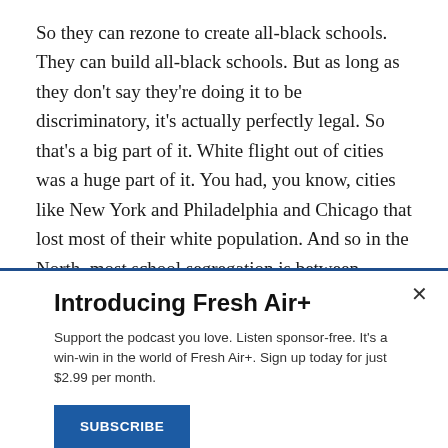So they can rezone to create all-black schools. They can build all-black schools. But as long as they don't say they're doing it to be discriminatory, it's actually perfectly legal. So that's a big part of it. White flight out of cities was a huge part of it. You had, you know, cities like New York and Philadelphia and Chicago that lost most of their white population. And so in the North, most school segregation is between school districts, between a urban school district and the suburbs that surround it. And so that contributed a lot to
Introducing Fresh Air+
Support the podcast you love. Listen sponsor-free. It's a win-win in the world of Fresh Air+. Sign up today for just $2.99 per month.